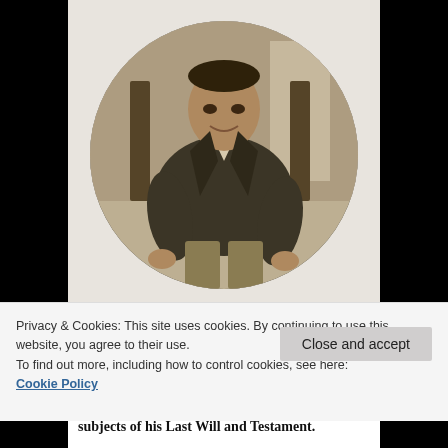[Figure (photo): Black and white / sepia circular cropped photograph of Adrien Arcand, a man seated in a chair, wearing a jacket and light-colored pants, photographed in a room.]
— Adrien Arcand, the Roman Catholic fascist / Adrien Arcand, le fasciste catholique romain
Privacy & Cookies: This site uses cookies. By continuing to use this website, you agree to their use.
To find out more, including how to control cookies, see here:
Cookie Policy
Close and accept
subjects of his Last Will and Testament.